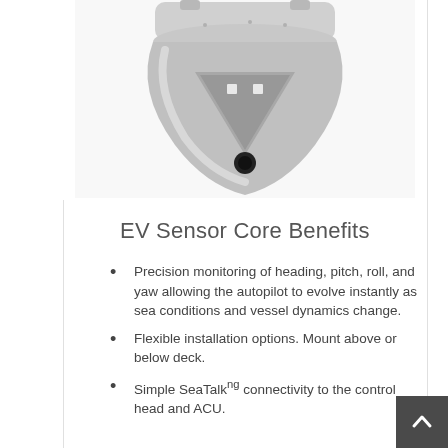[Figure (photo): Bottom view of an EV Sensor Core device — a white/grey dome-shaped sensor unit with triangular base, showing mounting holes and a central black circular port.]
EV Sensor Core Benefits
Precision monitoring of heading, pitch, roll, and yaw allowing the autopilot to evolve instantly as sea conditions and vessel dynamics change.
Flexible installation options. Mount above or below deck.
Simple SeaTalkⁿᵍ connectivity to the control head and ACU.